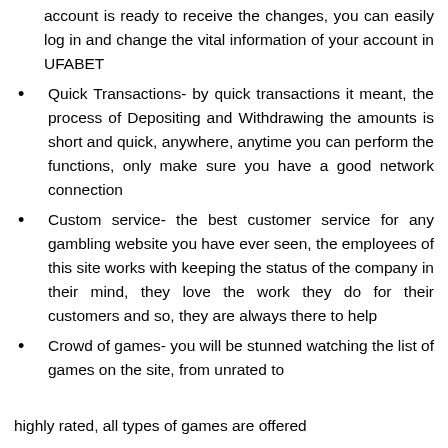account is ready to receive the changes, you can easily log in and change the vital information of your account in UFABET
Quick Transactions- by quick transactions it meant, the process of Depositing and Withdrawing the amounts is short and quick, anywhere, anytime you can perform the functions, only make sure you have a good network connection
Custom service- the best customer service for any gambling website you have ever seen, the employees of this site works with keeping the status of the company in their mind, they love the work they do for their customers and so, they are always there to help
Crowd of games- you will be stunned watching the list of games on the site, from unrated to
highly rated, all types of games are offered